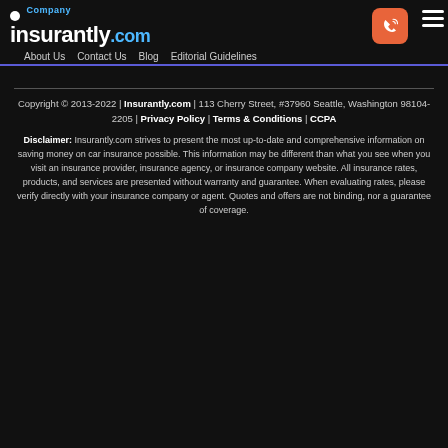insurantly.com — Company | About Us | Contact Us | Blog | Editorial Guidelines
Copyright © 2013-2022 | Insurantly.com | 113 Cherry Street, #37960 Seattle, Washington 98104-2205 | Privacy Policy | Terms & Conditions | CCPA
Disclaimer: Insurantly.com strives to present the most up-to-date and comprehensive information on saving money on car insurance possible. This information may be different than what you see when you visit an insurance provider, insurance agency, or insurance company website. All insurance rates, products, and services are presented without warranty and guarantee. When evaluating rates, please verify directly with your insurance company or agent. Quotes and offers are not binding, nor a guarantee of coverage.